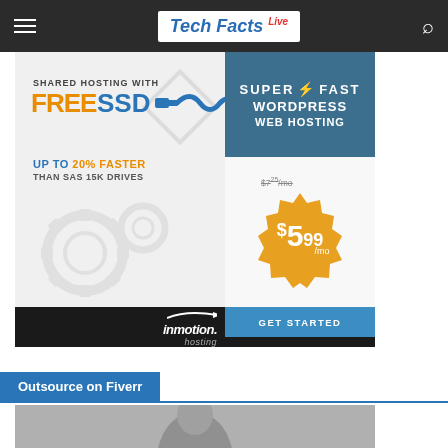Tech Facts Live
[Figure (infographic): InMotion Hosting advertisement banner: Shared Hosting with Free SSD, Up to 20% Faster than SAS 15K Drives, Super Fast WordPress Web Hosting, $5.99/mo (was $7.25), Get Started button, inmotion. hosting logo]
Outsource on Fiverr
[Figure (photo): Grayscale photo of a person's face/head, partially visible at the bottom of the page]